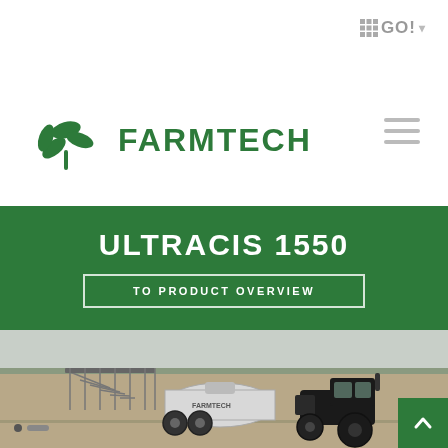GO!
[Figure (logo): Farmtech logo with green leaf icon and bold green FARMTECH text]
ULTRACIS 1550
TO PRODUCT OVERVIEW
[Figure (photo): A Farmtech Ultracis 1550 slurry tanker with spreading attachment being pulled by a black tractor across an open flat field]